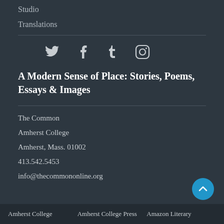Studio
Translations
[Figure (other): Social media icons: Twitter, Facebook, Tumblr, Instagram]
A Modern Sense of Place: Stories, Poems, Essays & Images
The Common
Amherst College
Amherst, Mass. 01002
413.542.5453
info@thecommononline.org
Amherst College    Amherst College Press    Amazon Literary